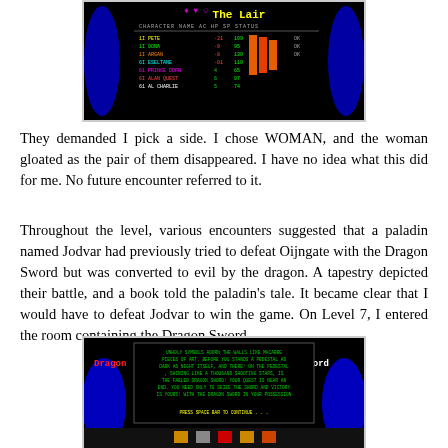[Figure (screenshot): Game screenshot showing 'The Lair' with character roster listing names, AC, HP, SP, STATUS columns on black background with colored text and bar indicators]
They demanded I pick a side. I chose WOMAN, and the woman gloated as the pair of them disappeared. I have no idea what this did for me. No future encounter referred to it.
Throughout the level, various encounters suggested that a paladin named Jodvar had previously tried to defeat Oijngate with the Dragon Sword but was converted to evil by the dragon. A tapestry depicted their battle, and a book told the paladin's tale. It became clear that I would have to defeat Jodvar to win the game. On Level 7, I entered the room containing the Dragon Sword...
[Figure (screenshot): Game screenshot showing Dragon Sword room description text in green on black, with red 'Dragon' label on left, white 'Sword' label on right, and blue flame hands at bottom]